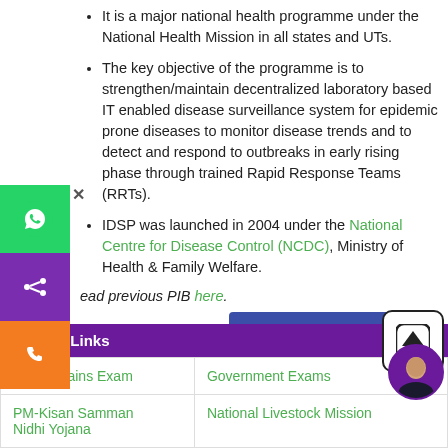It is a major national health programme under the National Health Mission in all states and UTs.
The key objective of the programme is to strengthen/maintain decentralized laboratory based IT enabled disease surveillance system for epidemic prone diseases to monitor disease trends and to detect and respond to outbreaks in early rising phase through trained Rapid Response Teams (RRTs).
IDSP was launched in 2004 under the National Centre for Disease Control (NCDC), Ministry of Health & Family Welfare.
Read previous PIB here.
July 21st, 2021, PIB:-
Download PDF Here
Related Links
|  |  |
| --- | --- |
| UPSC Mains Exam | Government Exams |
| PM-Kisan Samman Nidhi Yojana | National Livestock Mission |